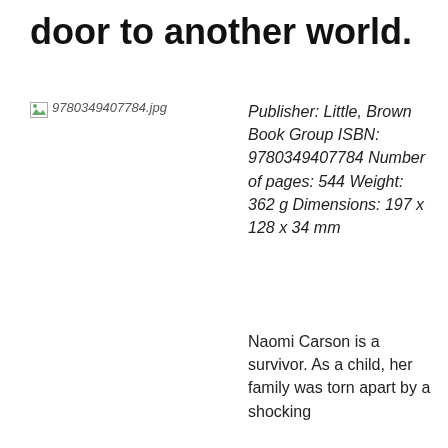door to another world.
[Figure (photo): Book cover image placeholder: 9780349407784.jpg]
Publisher: Little, Brown Book Group ISBN: 9780349407784 Number of pages: 544 Weight: 362 g Dimensions: 197 x 128 x 34 mm
Naomi Carson is a survivor. As a child, her family was torn apart by a shocking